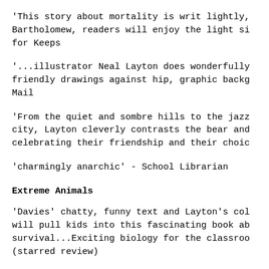'This story about mortality is writ lightly, Bartholomew, readers will enjoy the light si for Keeps
'...illustrator Neal Layton does wonderfully friendly drawings against hip, graphic backg Mail
'From the quiet and sombre hills to the jazz city, Layton cleverly contrasts the bear and celebrating their friendship and their choic
'charmingly anarchic' - School Librarian
Extreme Animals
'Davies' chatty, funny text and Layton's col will pull kids into this fascinating book ab survival...Exciting biology for the classroo (starred review)
An International Reading Association Top Cho